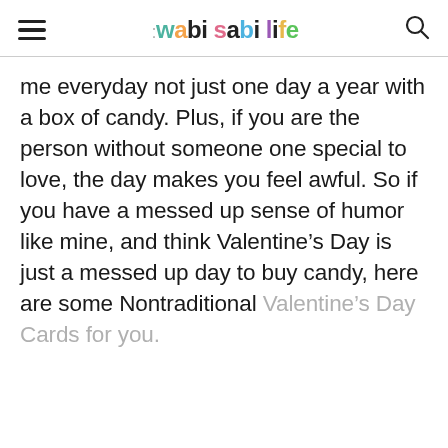wabi sabi life
me everyday not just one day a year with a box of candy. Plus, if you are the person without someone one special to love, the day makes you feel awful. So if you have a messed up sense of humor like mine, and think Valentine’s Day is just a messed up day to buy candy, here are some Nontraditional Valentine’s Day Cards for you.